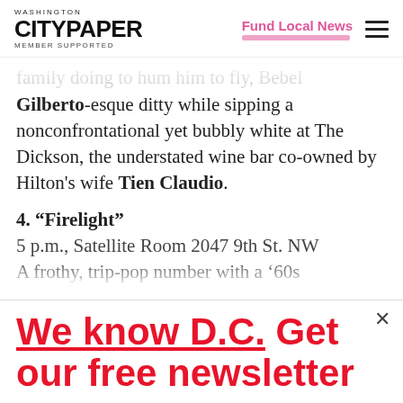Washington City Paper — Member Supported | Fund Local News
...amily doing to hum him to fly, Bebel Gilberto-esque ditty while sipping a nonconfrontational yet bubbly white at The Dickson, the understated wine bar co-owned by Hilton's wife Tien Claudio.
4. "Firelight"
5 p.m., Satellite Room 2047 9th St. NW
A frothy, trip-pop number with a '60s...
We know D.C. Get our free newsletter